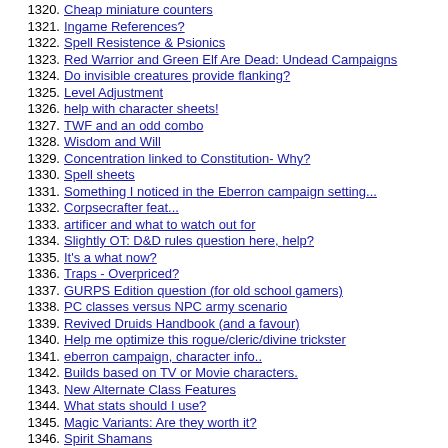1320. Cheap miniature counters
1321. Ingame References?
1322. Spell Resistence & Psionics
1323. Red Warrior and Green Elf Are Dead: Undead Campaigns
1324. Do invisible creatures provide flanking?
1325. Level Adjustment
1326. help with character sheets!
1327. TWF and an odd combo
1328. Wisdom and Will
1329. Concentration linked to Constitution- Why?
1330. Spell sheets
1331. Something I noticed in the Eberron campaign setting...
1332. Corpsecrafter feat...
1333. artificer and what to watch out for
1334. Slightly OT: D&D rules question here, help?
1335. It's a what now?
1336. Traps - Overpriced?
1337. GURPS Edition question (for old school gamers)
1338. PC classes versus NPC army scenario
1339. Revived Druids Handbook (and a favour)
1340. Help me optimize this rogue/cleric/divine trickster
1341. eberron campaign, character info..
1342. Builds based on TV or Movie characters.
1343. New Alternate Class Features
1344. What stats should I use?
1345. Magic Variants: Are they worth it?
1346. Spirit Shamans
1347. DM Inspiration
1348. Weird@55 ideas #5: The debug wish!